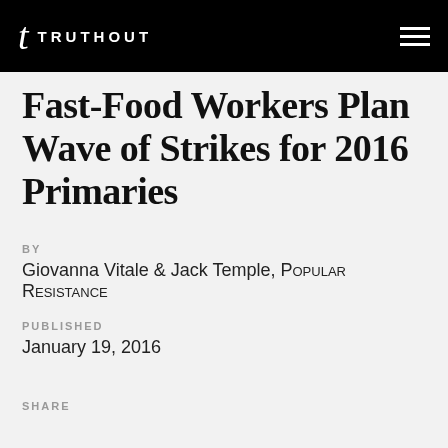t TRUTHOUT
Fast-Food Workers Plan Wave of Strikes for 2016 Primaries
BY
Giovanna Vitale & Jack Temple, Popular Resistance
PUBLISHED
January 19, 2016
SHARE